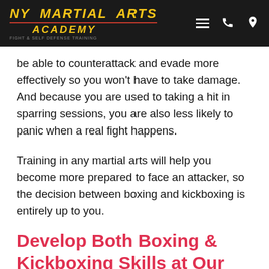NY MARTIAL ARTS ACADEMY
be able to counterattack and evade more effectively so you won't have to take damage. And because you are used to taking a hit in sparring sessions, you are also less likely to panic when a real fight happens.
Training in any martial arts will help you become more prepared to face an attacker, so the decision between boxing and kickboxing is entirely up to you.
Develop Both Boxing & Kickboxing Skills at Our School
Now that you know the difference between boxing